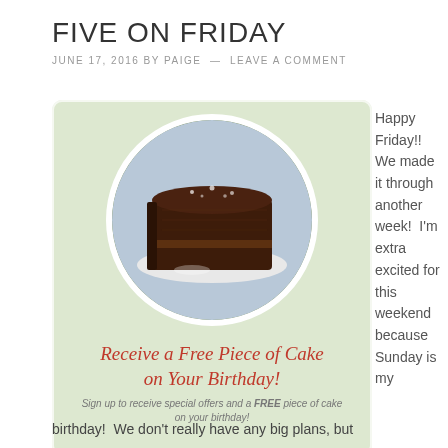FIVE ON FRIDAY
JUNE 17, 2016 BY PAIGE — LEAVE A COMMENT
[Figure (illustration): Promotional ad card with green background, circular photo of a chocolate cake slice, italic red headline 'Receive a Free Piece of Cake on Your Birthday!' and small italic subtext 'Sign up to receive special offers and a FREE piece of cake on your birthday!']
Happy Friday!!  We made it through another week!  I'm extra excited for this weekend because Sunday is my
birthday!  We don't really have any big plans, but